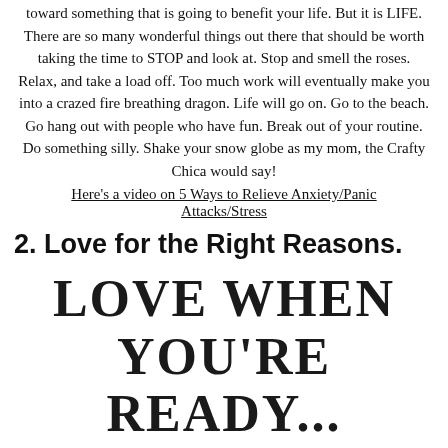toward something that is going to benefit your life. But it is LIFE. There are so many wonderful things out there that should be worth taking the time to STOP and look at. Stop and smell the roses. Relax, and take a load off. Too much work will eventually make you into a crazed fire breathing dragon. Life will go on. Go to the beach. Go hang out with people who have fun. Break out of your routine. Do something silly. Shake your snow globe as my mom, the Crafty Chica would say!
Here's a video on 5 Ways to Relieve Anxiety/Panic Attacks/Stress
2. Love for the Right Reasons.
[Figure (illustration): Handwritten text reading 'LOVE WHEN YOU'RE READY...' in large informal lettering]